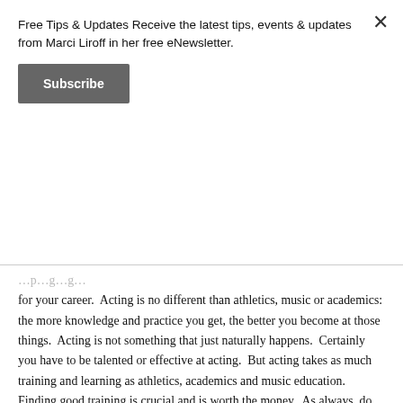Free Tips & Updates Receive the latest tips, events & updates from Marci Liroff in her free eNewsletter.
Subscribe
for your career.  Acting is no different than athletics, music or academics: the more knowledge and practice you get, the better you become at those things.  Acting is not something that just naturally happens.  Certainly you have to be talented or effective at acting.  But acting takes as much training and learning as athletics, academics and music education.  Finding good training is crucial and is worth the money.  As always, do your research and background checking before you commit to anything.  Most acting classes will allow you to vet or audit (sit in on their class) so you can see if it is something you’d be interested in.  Vetting a class or instructor is a good idea before you spend your money.